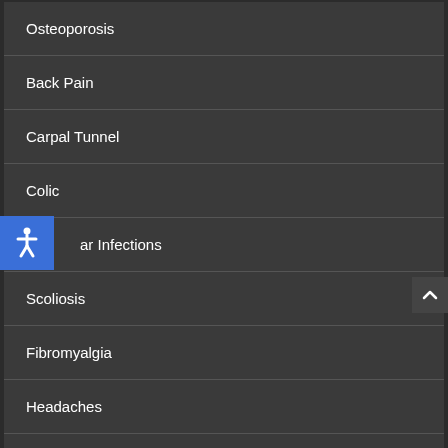Osteoporosis
Back Pain
Carpal Tunnel
Colic
Ear Infections
Scoliosis
Fibromyalgia
Headaches
Neck Pain